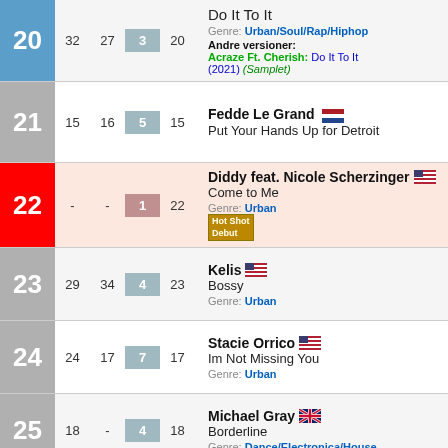| Rank | LW | 2W | PK | WC | Artist/Song | Country |
| --- | --- | --- | --- | --- | --- | --- |
| 20 | 32 | 27 | 3 | 20 | Do It To It | Genre: Urban/Soul/Rap/Hiphop | Andre versioner: Acraze Ft. Cherish: Do It To It (2021) (Samplet) |  |
| 21 | 15 | 16 | 5 | 15 | Fedde Le Grand | Put Your Hands Up for Detroit | NL |
| 22 | - | - | 1 | 22 | Diddy feat. Nicole Scherzinger | Come to Me | Genre: Urban | US |
| 23 | 29 | 34 | 4 | 23 | Kelis | Bossy | Genre: Urban | US |
| 24 | 24 | 17 | 7 | 17 | Stacie Orrico | Im Not Missing You | Genre: Urban | US |
| 25 | 18 | - | 4 | 18 | Michael Gray | Borderline | Genre: Dance/Electronica/House | UK |
| 26 |  |  |  |  | Chris Brown | US |